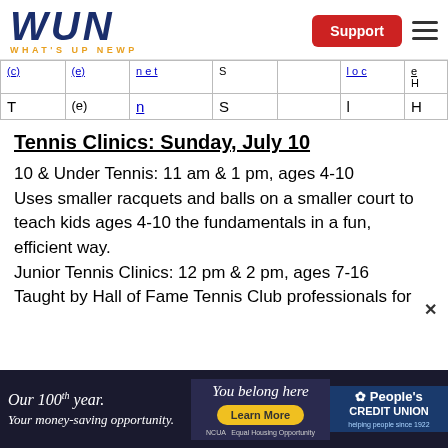WUN - What's Up Newp | Support
| (c) | (e) | n̲e̲t̲ | S |  | l̲o̲c̲ | H |
| T | (e) | n | S |  | l | H |
Tennis Clinics: Sunday, July 10
10 & Under Tennis:  11 am & 1 pm, ages 4-10 Uses smaller racquets and balls on a smaller court to teach kids ages 4-10 the fundamentals in a fun, efficient way. Junior Tennis Clinics: 12 pm & 2 pm, ages 7-16 Taught by Hall of Fame Tennis Club professionals for
[Figure (infographic): People's Credit Union advertisement banner: Our 100th year Your money-saving opportunity. You belong here. Learn More. People's Credit Union helping people since 1922.]